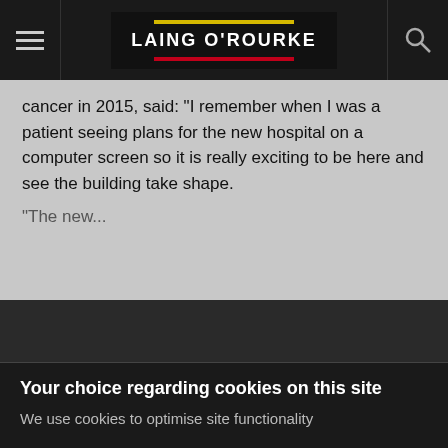[Figure (logo): Laing O'Rourke logo with yellow line above and red line below the white text, on a dark background navigation bar with hamburger menu on the left and search icon on the right]
cancer in 2015, said: "I remember when I was a patient seeing plans for the new hospital on a computer screen so it is really exciting to be here and see the building take shape.
"The new...
Your choice regarding cookies on this site
We use cookies to optimise site functionality and give you the best possible experience.